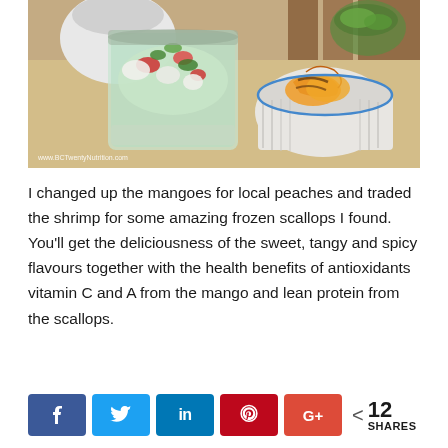[Figure (photo): Food photo showing a glass jar filled with ceviche (scallops with vegetables and herbs), a white ramekin bowl containing sliced peaches, and a bowl of herbs in the background, all on a wooden cutting board. Watermark reads: www.BCTwentyNutrition.com]
I changed up the mangoes for local peaches and traded the shrimp for some amazing frozen scallops I found. You'll get the deliciousness of the sweet, tangy and spicy flavours together with the health benefits of antioxidants vitamin C and A from the mango and lean protein from the scallops.
[Figure (infographic): Social sharing bar with Facebook (f), Twitter (bird), LinkedIn (in), Pinterest (p), Google+ (G+) buttons and share count showing 12 SHARES]